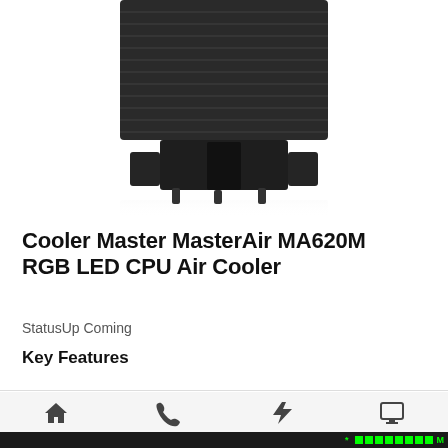[Figure (photo): Bottom view of Cooler Master MasterAir MA620M RGB LED CPU Air Cooler, showing dark heatsink fins and base from above on white background]
Cooler Master MasterAir MA620M RGB LED CPU Air Cooler
StatusUp Coming
Key Features
Home | Call | offer | PC BUILDER